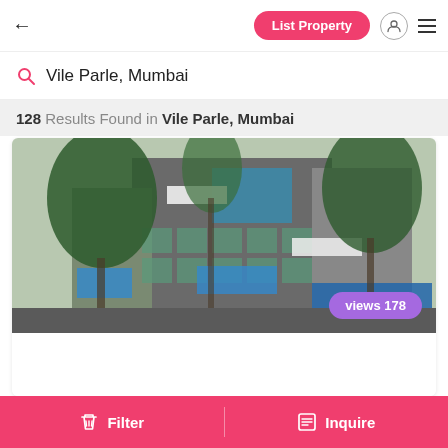← List Property
Vile Parle, Mumbai
128 Results Found in Vile Parle, Mumbai
[Figure (photo): Street-level photo of a multi-storey commercial building in Vile Parle, Mumbai, surrounded by trees, with various shopfront signs and a blue billboard visible. A purple badge reads 'views 178'.]
ML Spaces in Vile Parle, Restaurant for Sale - Mum...
Filter   Inquire